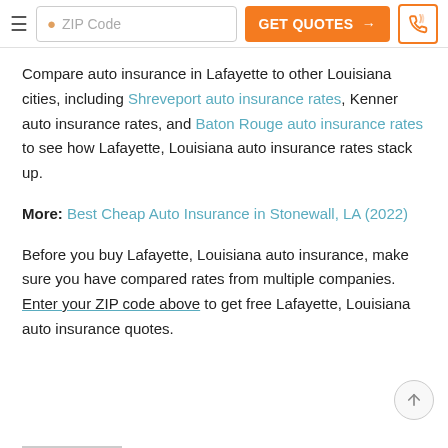ZIP Code | GET QUOTES → | [phone icon]
Compare auto insurance in Lafayette to other Louisiana cities, including Shreveport auto insurance rates, Kenner auto insurance rates, and Baton Rouge auto insurance rates to see how Lafayette, Louisiana auto insurance rates stack up.
More: Best Cheap Auto Insurance in Stonewall, LA (2022)
Before you buy Lafayette, Louisiana auto insurance, make sure you have compared rates from multiple companies. Enter your ZIP code above to get free Lafayette, Louisiana auto insurance quotes.